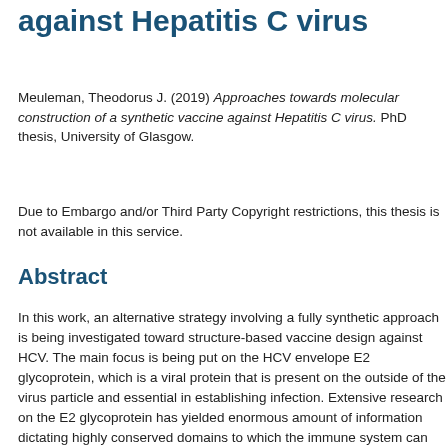against Hepatitis C virus
Meuleman, Theodorus J. (2019) Approaches towards molecular construction of a synthetic vaccine against Hepatitis C virus. PhD thesis, University of Glasgow.
Due to Embargo and/or Third Party Copyright restrictions, this thesis is not available in this service.
Abstract
In this work, an alternative strategy involving a fully synthetic approach is being investigated toward structure-based vaccine design against HCV. The main focus is being put on the HCV envelope E2 glycoprotein, which is a viral protein that is present on the outside of the virus particle and essential in establishing infection. Extensive research on the E2 glycoprotein has yielded enormous amount of information dictating highly conserved domains to which the immune system can efficiently respond in order to neutralize the virus and even naturally cure infection. These highly conserved and neutralizing domains, together with the availability of antibodies binding these regions, will be exploited to design synthetic peptide-based modulators (i.e. epitope mimi